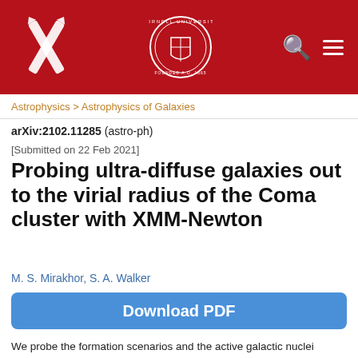[Figure (logo): arXiv and Cornell University header bar with arXiv X logo on left, Cornell University seal in center, search and menu icons on right, red background]
Astrophysics > Astrophysics of Galaxies
arXiv:2102.11285 (astro-ph)
[Submitted on 22 Feb 2021]
Probing ultra-diffuse galaxies out to the virial radius of the Coma cluster with XMM-Newton
M. S. Mirakhor, S. A. Walker
Download PDF
We probe the formation scenarios and the active galactic nuclei (AGN) occupation fraction of ultra-diffuse galaxies (UDGs) in the nearby Coma cluster by utilizing XMM-Newton observations of 779 out of 854 UDG candidates identified by Subaru survey. Their origin is probed by measuring the dark matter halo mass of the stacked sample of UDGs and the population of low-mass X-ray binaries